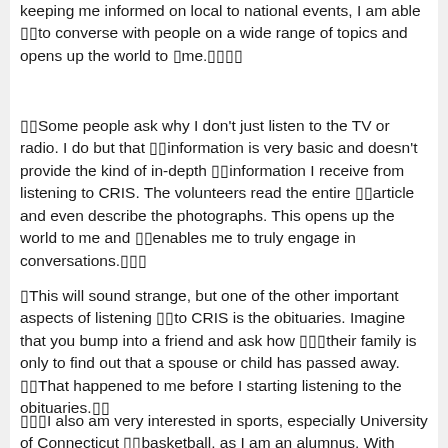keeping me informed on local to national events, I am able ▯▯to converse with people on a wide range of topics and opens up the world to ▯me.▯▯▯▯
▯▯Some people ask why I don't just listen to the TV or radio. I do but that ▯▯information is very basic and doesn't provide the kind of in-depth ▯▯information I receive from listening to CRIS. The volunteers read the entire ▯▯article and even describe the photographs. This opens up the world to me and ▯▯enables me to truly engage in conversations.▯▯▯
▯This will sound strange, but one of the other important aspects of listening ▯▯to CRIS is the obituaries. Imagine that you bump into a friend and ask how ▯▯▯their family is only to find out that a spouse or child has passed away. ▯▯That happened to me before I starting listening to the obituaries.▯▯
▯▯▯I also am very interested in sports, especially University of Connecticut ▯▯basketball, as I am an alumnus. With